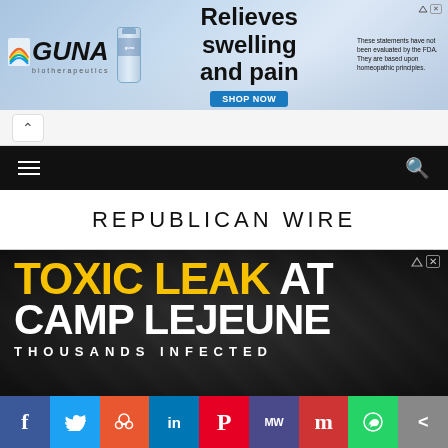[Figure (screenshot): GUNA biotherapeutics advertisement banner. Shows GUNA logo with rainbow graphic, a product bottle, text 'Relieves swelling and pain', a 'SHOP NOW' button, and disclaimer text about FDA evaluation and homeopathic principles. Has AdChoices icon.]
[Figure (screenshot): Navigation chevron/back button bar with up arrow on light gray background.]
[Figure (screenshot): Black navigation bar with hamburger menu icon on left and search icon on right.]
REPUBLICAN WIRE
[Figure (screenshot): Advertisement for Camp Lejeune toxic leak lawsuit. Dark military background with bold text: 'TOXIC LEAK AT CAMP LEJEUNE THOUSANDS INFECTED'. Has AdChoices close button.]
[Figure (infographic): Social media sharing bar with buttons: Facebook (f), Twitter (bird), Reddit (alien), LinkedIn (in), Pinterest (P), MeWe (MW), Mix (m), WhatsApp (phone), Share (<).]